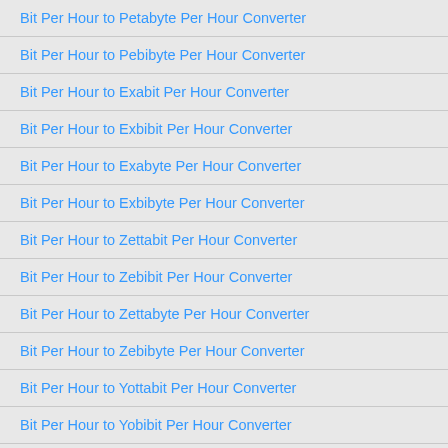Bit Per Hour to Petabyte Per Hour Converter
Bit Per Hour to Pebibyte Per Hour Converter
Bit Per Hour to Exabit Per Hour Converter
Bit Per Hour to Exbibit Per Hour Converter
Bit Per Hour to Exabyte Per Hour Converter
Bit Per Hour to Exbibyte Per Hour Converter
Bit Per Hour to Zettabit Per Hour Converter
Bit Per Hour to Zebibit Per Hour Converter
Bit Per Hour to Zettabyte Per Hour Converter
Bit Per Hour to Zebibyte Per Hour Converter
Bit Per Hour to Yottabit Per Hour Converter
Bit Per Hour to Yobibit Per Hour Converter
Bit Per Hour to Yottabyte Per Hour Converter
Bit Per Hour to Yobibyte Per Hour Converter